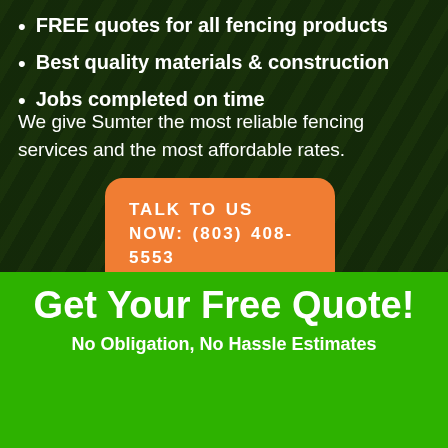FREE quotes for all fencing products
Best quality materials & construction
Jobs completed on time
We give Sumter the most reliable fencing services and the most affordable rates.
TALK TO US NOW: (803) 408-5553
Get Your Free Quote!
No Obligation, No Hassle Estimates